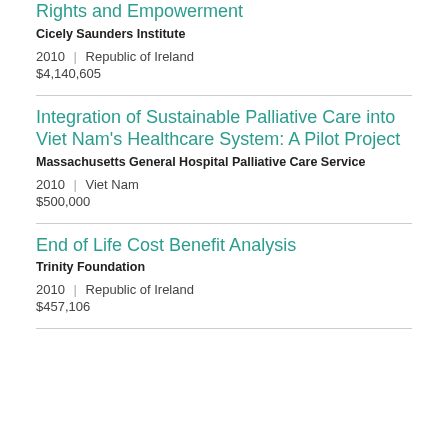Rights and Empowerment
Cicely Saunders Institute
2010 | Republic of Ireland
$4,140,605
Integration of Sustainable Palliative Care into Viet Nam's Healthcare System: A Pilot Project
Massachusetts General Hospital Palliative Care Service
2010 | Viet Nam
$500,000
End of Life Cost Benefit Analysis
Trinity Foundation
2010 | Republic of Ireland
$457,106